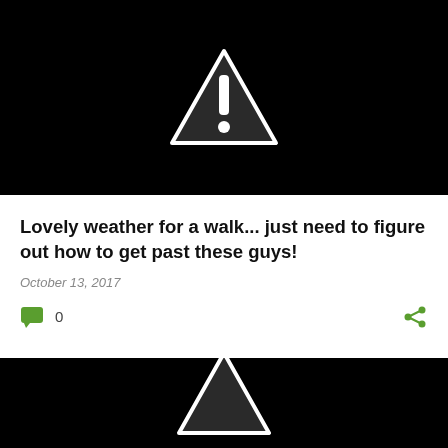[Figure (illustration): Black background panel with a white-outlined dark triangle warning/caution sign containing a white exclamation mark]
Lovely weather for a walk... just need to figure out how to get past these guys!
October 13, 2017
0
[Figure (illustration): Black background panel with partial white-outlined dark triangle warning/caution sign at bottom of page]